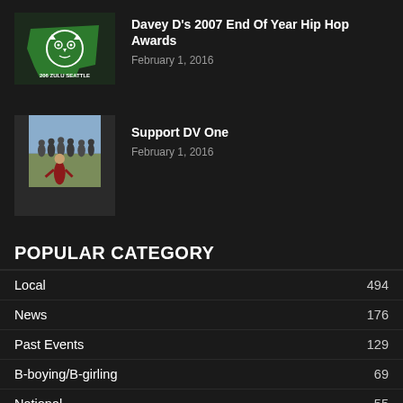[Figure (logo): 206 Zulu Seattle logo — green Washington state shape with white owl face graphic]
Davey D's 2007 End Of Year Hip Hop Awards
February 1, 2016
[Figure (photo): Group of people outdoors, child in foreground wearing red shirt]
Support DV One
February 1, 2016
POPULAR CATEGORY
Local  494
News  176
Past Events  129
B-boying/B-girling  69
National  55
DJ'ing  46